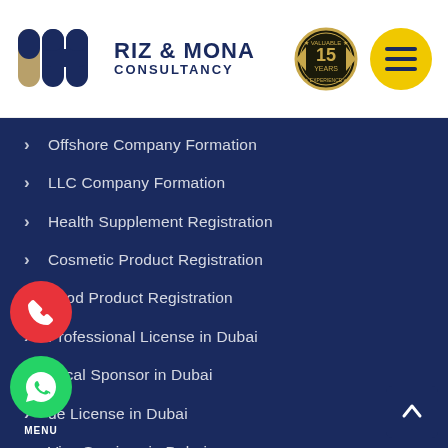[Figure (logo): Riz & Mona Consultancy logo with stylized 'rm' icon in navy and gold, text 'RIZ & MONA CONSULTANCY']
[Figure (logo): 15 Years Valuable Experience badge in gold/black circular emblem]
[Figure (other): Yellow circular menu button with three horizontal navy lines]
Offshore Company Formation
LLC Company Formation
Health Supplement Registration
Cosmetic Product Registration
Food Product Registration
Professional License in Dubai
Local Sponsor in Dubai
Trade License in Dubai
Visa Services in Dubai
[Figure (other): Red circular floating phone button]
[Figure (other): Green circular WhatsApp button with MENU label]
[Figure (other): Dark blue scroll-to-top button with up arrow]